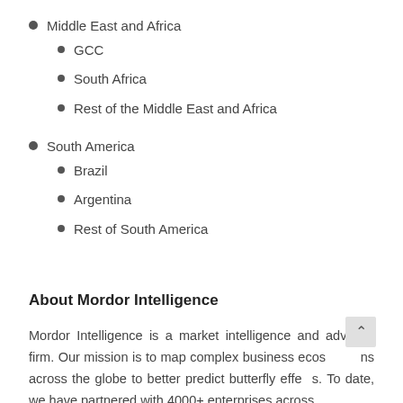Middle East and Africa
GCC
South Africa
Rest of the Middle East and Africa
South America
Brazil
Argentina
Rest of South America
About Mordor Intelligence
Mordor Intelligence is a market intelligence and advisory firm. Our mission is to map complex business ecosystems across the globe to better predict butterfly effects. To date, we have partnered with 4000+ enterprises across